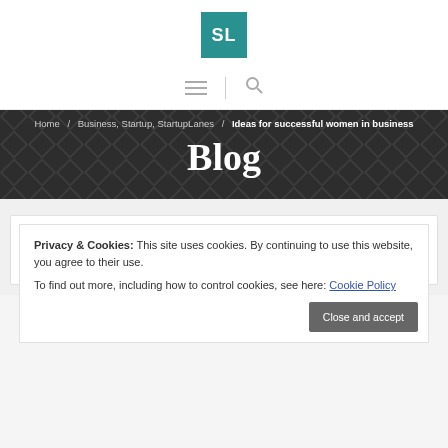[Figure (logo): SL logo — teal square with white SL letters]
≡  |  🔍
Home / Business, Startup, StartupLanes / Ideas for successful women in business
Blog
Ideas for successful women in business
December 11, 2020  /  Taniya Saini    Business, Startup, StartupLanes
Privacy & Cookies: This site uses cookies. By continuing to use this website, you agree to their use.
To find out more, including how to control cookies, see here: Cookie Policy
Close and accept